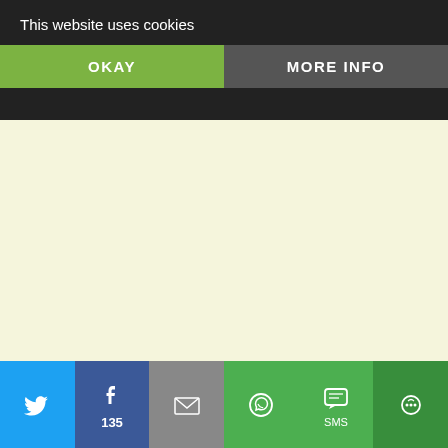This website uses cookies
OKAY
MORE INFO
inavukic says:
March 14, 2014 at 10:26 pm
Thank you Hrvojehrc, your English credit to you. This diaspora can rela political climate and disappointmen wish to say that nobody took the mo were gladly donating funds to help C difficult time in Croatia for independ were individuals who thieved some the bulk went where it was suppose catch up with the thieves sooner or – that is written in the Good Book.
Like
[Figure (screenshot): Social sharing bar with Twitter, Facebook (135), Email, WhatsApp, SMS, and More buttons at the bottom of the page]